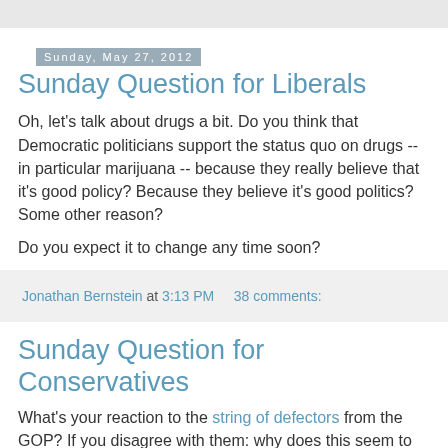Sunday, May 27, 2012
Sunday Question for Liberals
Oh, let's talk about drugs a bit. Do you think that Democratic politicians support the status quo on drugs -- in particular marijuana -- because they really believe that it's good policy? Because they believe it's good politics? Some other reason?
Do you expect it to change any time soon?
Jonathan Bernstein at 3:13 PM    38 comments:
Sunday Question for Conservatives
What's your reaction to the string of defectors from the GOP? If you disagree with them: why does this seem to keep happening, if they're wrong? If you agree with them (that is, in their shared claim that they are still in fact